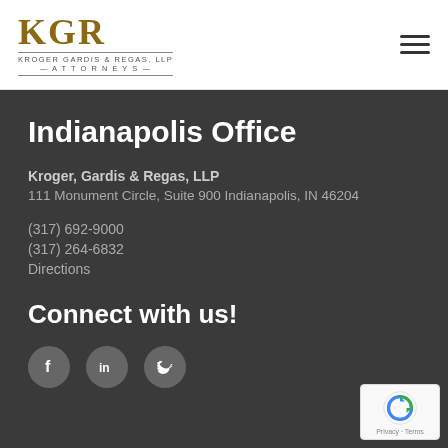Kroger Gardis & Regas, LLP — Attorneys
Indianapolis Office
Kroger, Gardis & Regas, LLP
111 Monument Circle, Suite 900 Indianapolis, IN 46204
(317) 692-9000
(317) 264-6832
Directions
Connect with us!
[Figure (illustration): Social media icons: Facebook, LinkedIn, Twitter in circular gray buttons]